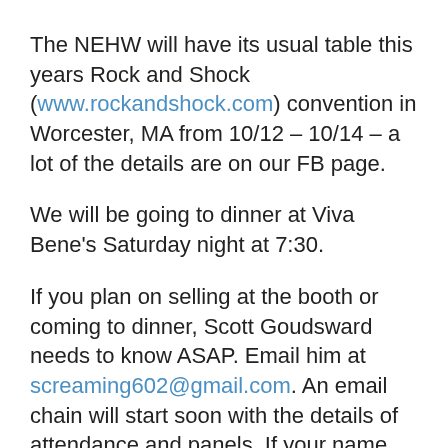The NEHW will have its usual table this years Rock and Shock (www.rockandshock.com) convention in Worcester, MA from 10/12 – 10/14 – a lot of the details are on our FB page.
We will be going to dinner at Viva Bene's Saturday night at 7:30.
If you plan on selling at the booth or coming to dinner, Scott Goudsward needs to know ASAP. Email him at screaming602@gmail.com. An email chain will start soon with the details of attendance and panels. If your name does not get on the list then you will not be able to get in. Email Scott for questions and details.
The NEHW will be taking place in panels this year, Women in Horror, Small Press Publishing and Breaking into the